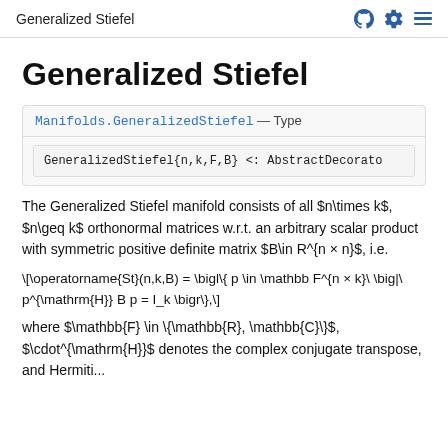Generalized Stiefel
Generalized Stiefel
Manifolds.GeneralizedStiefel — Type
The Generalized Stiefel manifold consists of all $n\times k$, $n\geq k$ orthonormal matrices w.r.t. an arbitrary scalar product with symmetric positive definite matrix $B\in R^{n × n}$, i.e.
where $\mathbb{F} \in \{\mathbb{R}, \mathbb{C}\}$, $\cdot^{\mathrm{H}}$ denotes the complex conjugate transpose, and Hermitian...